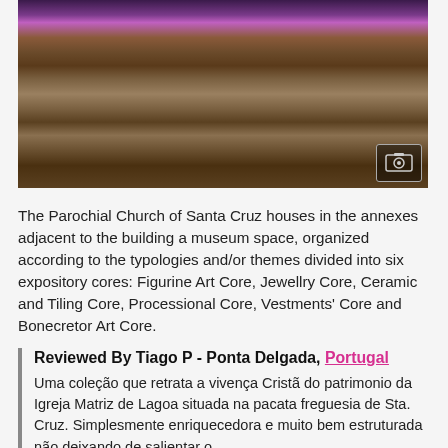[Figure (photo): Interior of Parochial Church of Santa Cruz showing church pews with people seated, a lit altar with purple/pink lighting in the background, and ornate wooden architecture.]
The Parochial Church of Santa Cruz houses in the annexes adjacent to the building a museum space, organized according to the typologies and/or themes divided into six expository cores: Figurine Art Core, Jewellry Core, Ceramic and Tiling Core, Processional Core, Vestments' Core and Bonecretor Art Core.
Reviewed By Tiago P - Ponta Delgada, Portugal
Uma coleção que retrata a vivença Cristã do patrimonio da Igreja Matriz de Lagoa situada na pacata freguesia de Sta. Cruz. Simplesmente enriquecedora e muito bem estruturada não deixando de salientar o